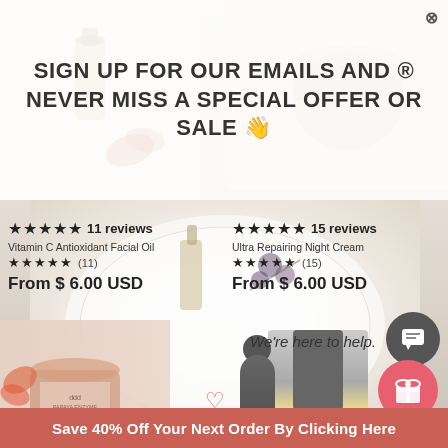[Figure (screenshot): Background photo collage of skincare products including facial oil bottles, cream jars, and botanical elements on a light surface]
SIGN UP FOR OUR EMAILS AND ® NEVER MISS A SPECIAL OFFER OR SALE 👋
★★★★★ 11 reviews  Vitamin C Antioxidant Facial Oil  ★ ★ ★ ★ ★ (11)  From $ 6.00 USD
★★★★★ 15 reviews  Ultra Repairing Night Cream  ★ ★ ★ ★ ★ (15)  From $ 6.00 USD
We're here to help.
Save 40% Off Your Next Order By Clicking Here